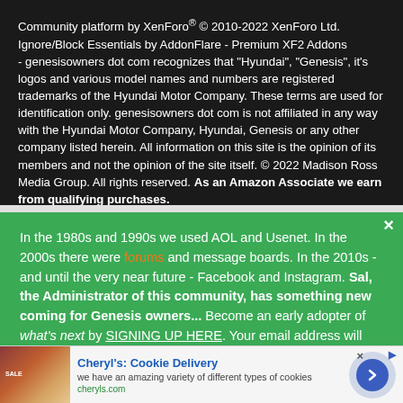Community platform by XenForo® © 2010-2022 XenForo Ltd. Ignore/Block Essentials by AddonFlare - Premium XF2 Addons - genesisowners dot com recognizes that "Hyundai", "Genesis", it's logos and various model names and numbers are registered trademarks of the Hyundai Motor Company. These terms are used for identification only. genesisowners dot com is not affiliated in any way with the Hyundai Motor Company, Hyundai, Genesis or any other company listed herein. All information on this site is the opinion of its members and not the opinion of the site itself. © 2022 Madison Ross Media Group. All rights reserved. As an Amazon Associate we earn from qualifying purchases.
In the 1980s and 1990s we used AOL and Usenet. In the 2000s there were forums and message boards. In the 2010s - and until the very near future - Facebook and Instagram. Sal, the Administrator of this community, has something new coming for Genesis owners... Become an early adopter of what's next by SIGNING UP HERE. Your email address will
[Figure (other): Advertisement banner for Cheryl's Cookie Delivery showing cookies image on left, ad title, description, cheryls.com URL, and a blue arrow circle button on right]